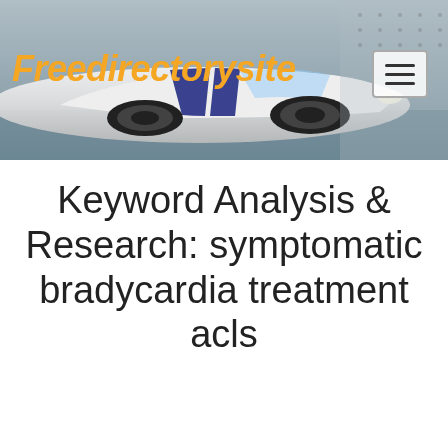[Figure (screenshot): Website header banner with a white sports car with blue racing stripes on a gray/blue blurred background, showing the Freedirectorysite logo in orange italic bold text on the left and a hamburger menu icon on the right.]
Keyword Analysis & Research: symptomatic bradycardia treatment acls